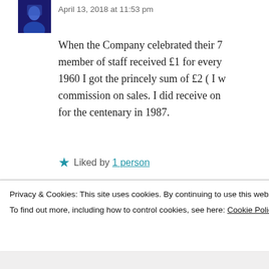April 13, 2018 at 11:53 pm
When the Company celebrated their 7... member of staff received £1 for every... 1960 I got the princely sum of £2 ( I w... commission on sales. I did receive on... for the centenary in 1987.
Liked by 1 person
E Evans says:
October 30, 2018 at 5:14 pm
Hello,
Privacy & Cookies: This site uses cookies. By continuing to use this website, you agree to their use.
To find out more, including how to control cookies, see here: Cookie Policy